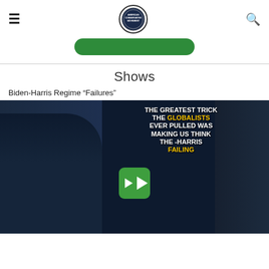≡  [Logo: American Conservative Movement]  🔍
[Figure (other): Green pill/button shape]
Shows
Biden-Harris Regime "Failures"
[Figure (screenshot): Video thumbnail showing Biden and Harris laughing, with a man on the right side, and text overlay reading: THE GREATEST TRICK THE GLOBALISTS EVER PULLED WAS MAKING US THINK THE BIDEN-HARRIS REGIME IS FAILING. A green play button is centered on the image.]